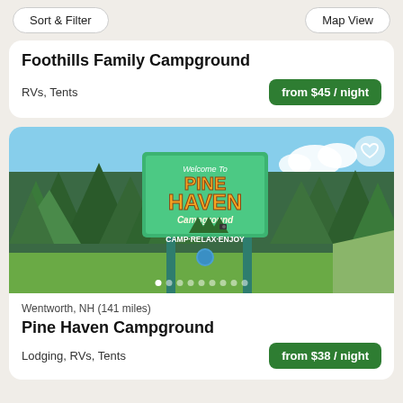Sort & Filter | Map View
Foothills Family Campground
RVs, Tents
from $45 / night
[Figure (photo): Photo of Pine Haven Campground sign in front of green trees and blue sky. Sign reads: Welcome To PINE HAVEN Campground CAMP·RELAX·ENJOY]
Wentworth, NH (141 miles)
Pine Haven Campground
Lodging, RVs, Tents
from $38 / night